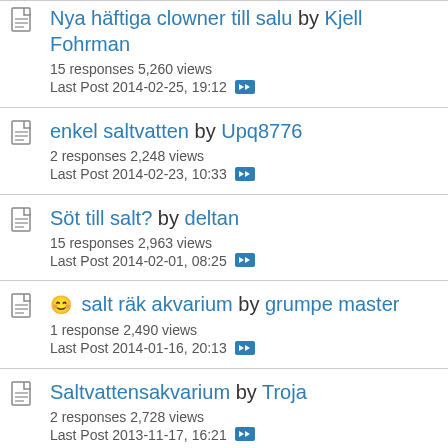Nya häftiga clowner till salu by Kjell Fohrman — 15 responses 5,260 views — Last Post 2014-02-25, 19:12
enkel saltvatten by Upq8776 — 2 responses 2,248 views — Last Post 2014-02-23, 10:33
Söt till salt? by deltan — 15 responses 2,963 views — Last Post 2014-02-01, 08:25
salt räk akvarium by grumpe master — 1 response 2,490 views — Last Post 2014-01-16, 20:13
Saltvattensakvarium by Troja — 2 responses 2,728 views — Last Post 2013-11-17, 16:21